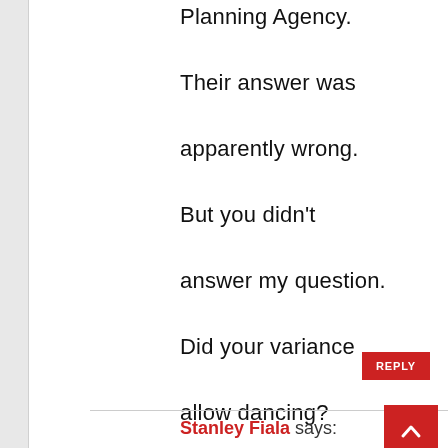Planning Agency. Their answer was apparently wrong. But you didn't answer my question. Did your variance allow dancing? Please answer that so that I can amend the story.
REPLY
Stanley Fiala says: